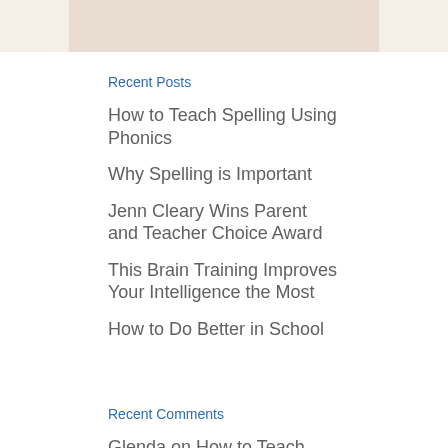[Figure (other): Partial image strip at the top of the page, showing a beige/tan colored image fragment]
Recent Posts
How to Teach Spelling Using Phonics
Why Spelling is Important
Jenn Cleary Wins Parent and Teacher Choice Award
This Brain Training Improves Your Intelligence the Most
How to Do Better in School
Recent Comments
Glenda on How to Teach Spelling Using Phonics
Dorothy on How to Tell If You Are an Employee or